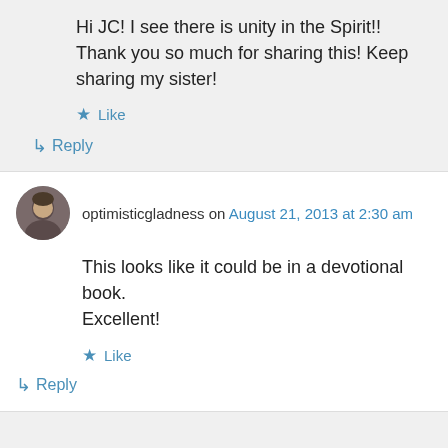Hi JC! I see there is unity in the Spirit!! Thank you so much for sharing this! Keep sharing my sister!
Like
Reply
optimisticgladness on August 21, 2013 at 2:30 am
This looks like it could be in a devotional book. Excellent!
Like
Reply